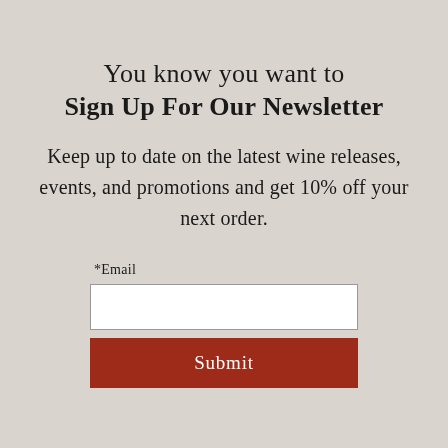You know you want to Sign Up For Our Newsletter
Keep up to date on the latest wine releases, events, and promotions and get 10% off your next order.
*Email